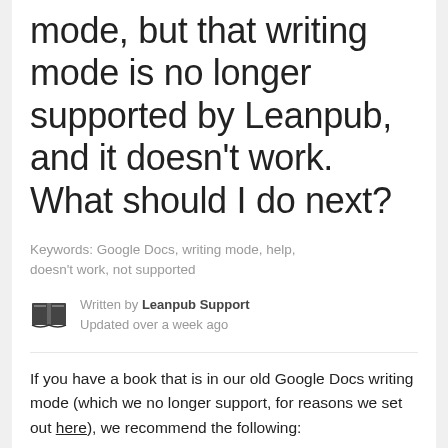mode, but that writing mode is no longer supported by Leanpub, and it doesn't work. What should I do next?
Keywords: Google Docs, writing mode, help, doesn't work, not supported
Written by Leanpub Support
Updated over a week ago
If you have a book that is in our old Google Docs writing mode (which we no longer support, for reasons we set out here), we recommend the following: